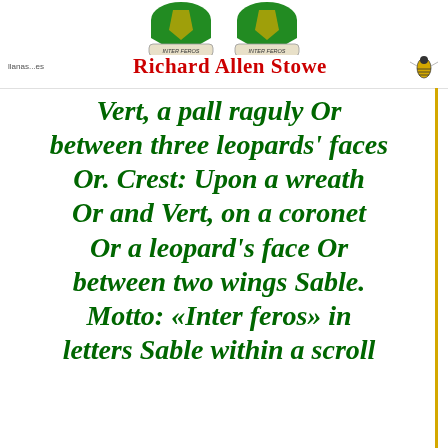[Figure (illustration): Two heraldic shields with green and gold coat of arms, each with 'INTER FEROS' motto scroll beneath, displayed at top of page]
Richard Allen Stowe
Vert, a pall raguly Or between three leopards' faces Or. Crest: Upon a wreath Or and Vert, on a coronet Or a leopard's face Or between two wings Sable. Motto: «Inter feros» in letters Sable within a scroll